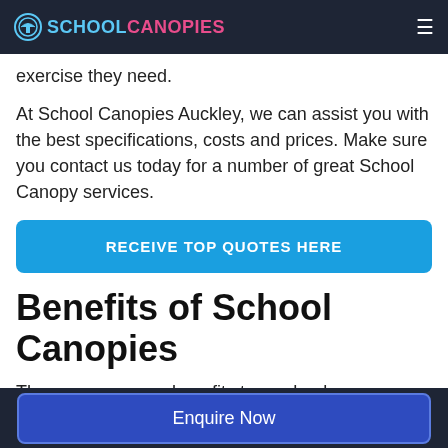SCHOOL CANOPIES
exercise they need.
At School Canopies Auckley, we can assist you with the best specifications, costs and prices. Make sure you contact us today for a number of great School Canopy services.
RECEIVE TOP QUOTES HERE
Benefits of School Canopies
There are so many benefits to a school canopy,
Enquire Now